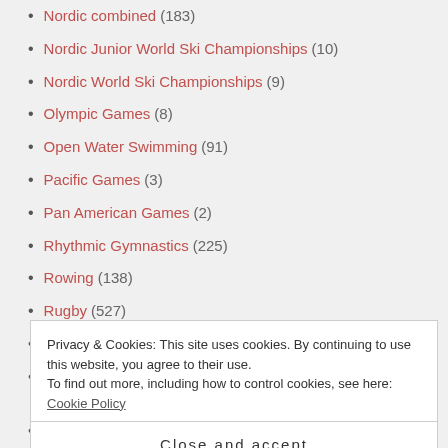Nordic combined (183)
Nordic Junior World Ski Championships (10)
Nordic World Ski Championships (9)
Olympic Games (8)
Open Water Swimming (91)
Pacific Games (3)
Pan American Games (2)
Rhythmic Gymnastics (225)
Rowing (138)
Rugby (527)
Sailing (340)
Sambo (33)
Privacy & Cookies: This site uses cookies. By continuing to use this website, you agree to their use. To find out more, including how to control cookies, see here: Cookie Policy
Close and accept
Ski Jumping (425)